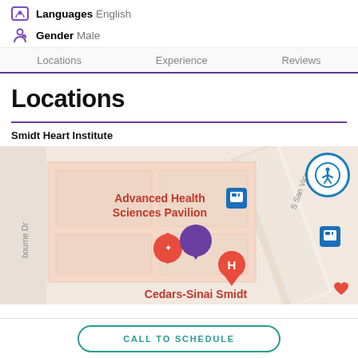Languages English
Gender Male
Locations  Experience  Reviews
Locations
Smidt Heart Institute
[Figure (map): Google Maps view showing Advanced Health Sciences Pavilion and Cedars-Sinai Smidt Heart Institute location with map pins, bus stop icons, and street labels including S San Vice and Osbourne Dr]
CALL TO SCHEDULE